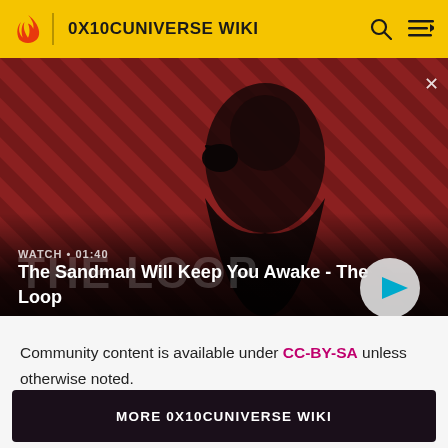0X10CUNIVERSE WIKI
[Figure (screenshot): Video thumbnail for 'The Sandman Will Keep You Awake - The Loop'. Shows a dark figure with a raven on shoulder against a red/dark striped background. WATCH • 01:40 label visible with play button.]
Community content is available under CC-BY-SA unless otherwise noted.
MORE 0X10CUNIVERSE WIKI